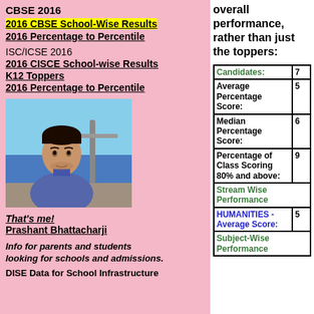CBSE 2016
2016 CBSE School-Wise Results
2016 Percentage to Percentile
ISC/ICSE 2016
2016 CISCE School-wise Results
K12 Toppers
2016 Percentage to Percentile
[Figure (photo): Photo of Prashant Bhattacharji standing outdoors near water with blue sky background]
That's me!
Prashant Bhattacharji
Info for parents and students looking for schools and admissions.
DISE Data for School Infrastructure
overall performance, rather than just the toppers:
| Candidates: | 7 |
| --- | --- |
| Average Percentage Score: | 5 |
| Median Percentage Score: | 6 |
| Percentage of Class Scoring 80% and above: | 9 |
| Stream Wise Performance |  |
| HUMANITIES - Average Score: | 5 |
| Subject-Wise Performance |  |